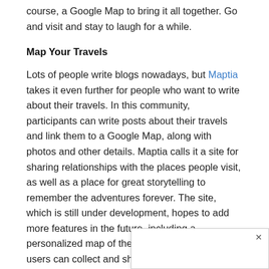course, a Google Map to bring it all together. Go and visit and stay to laugh for a while.
Map Your Travels
Lots of people write blogs nowadays, but Maptia takes it even further for people who want to write about their travels. In this community, participants can write posts about their travels and link them to a Google Map, along with photos and other details. Maptia calls it a site for sharing relationships with the places people visit, as well as a place for great storytelling to remember the adventures forever. The site, which is still under development, hopes to add more features in the future, including a personalized map of the world and a place where users can collect and showcase other content that they discover on Maptia, according to its organize